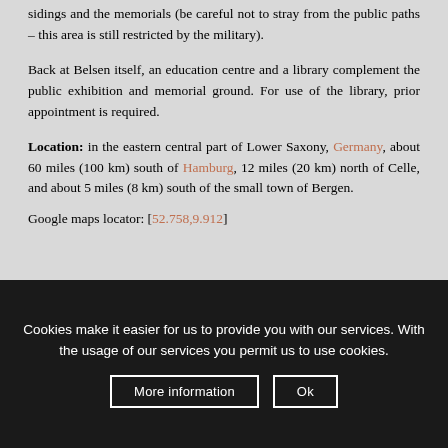sidings and the memorials (be careful not to stray from the public paths – this area is still restricted by the military).
Back at Belsen itself, an education centre and a library complement the public exhibition and memorial ground. For use of the library, prior appointment is required.
Location: in the eastern central part of Lower Saxony, Germany, about 60 miles (100 km) south of Hamburg, 12 miles (20 km) north of Celle, and about 5 miles (8 km) south of the small town of Bergen.
Google maps locator: [52.758,9.912]
Cookies make it easier for us to provide you with our services. With the usage of our services you permit us to use cookies.